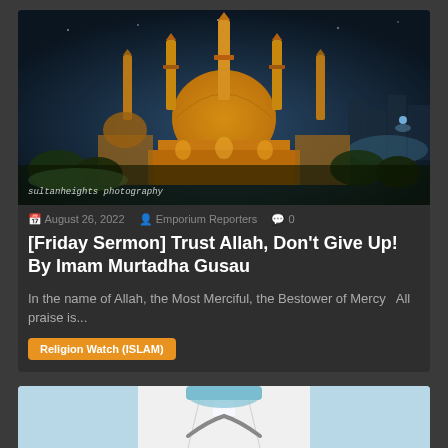[Figure (photo): Night photograph of an illuminated mosque with golden dome and four minarets against a dark sky, with city lights in background. Watermark reads 'sultanheights photography']
August 26, 2022   Emporium Reporters   0
[Friday Sermon] Trust Allah, Don't Give Up! By Imam Murtadha Gusau
In the name of Allah, the Most Merciful, the Bestower of Mercy   All praise is...
Religion Watch (ISLAM)
[Figure (photo): Partial view of a person wearing a white doctor's coat and a stethoscope around the neck, with a light blue background]